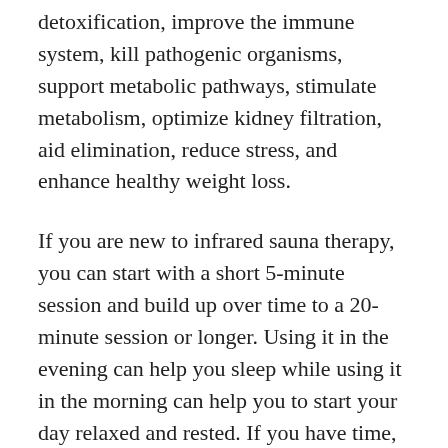detoxification, improve the immune system, kill pathogenic organisms, support metabolic pathways, stimulate metabolism, optimize kidney filtration, aid elimination, reduce stress, and enhance healthy weight loss.
If you are new to infrared sauna therapy, you can start with a short 5-minute session and build up over time to a 20-minute session or longer. Using it in the evening can help you sleep while using it in the morning can help you to start your day relaxed and rested. If you have time, you may fit two sauna sessions into your day.
There are also a few strategies you can try to enhance your benefits: